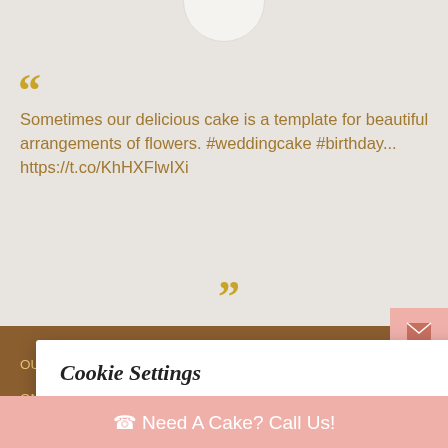[Figure (illustration): Top portion of circular avatar/profile image visible at top center of page]
““
Sometimes our delicious cake is a template for beautiful arrangements of flowers. #weddingcake #birthday... https://t.co/KhHXFlwIXi
””
OUNT
ON, E13 0HG
Cookie Settings
We use cookies on our website to give you the most relevant experience by remembering your preferences and repeat visits. By clicking “Accept All”, you consent to the use of ALL the cookies. However, you may visit “Cookie Settings” to provide a controlled consent.
Cookie Settings    Accept All
☎ Need A Cake? Call Us!